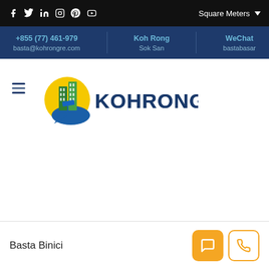Social media icons: Facebook, Twitter, LinkedIn, Instagram, Pinterest, YouTube | Square Meters dropdown
+855 (77) 461-979 | basta@kohrongre.com | Koh Rong | Sok San | WeChat | bastabasar
[Figure (logo): KohRongRE logo with green and blue building icon and yellow sun, text KOHRONGRE in blue and green]
Basta Binici